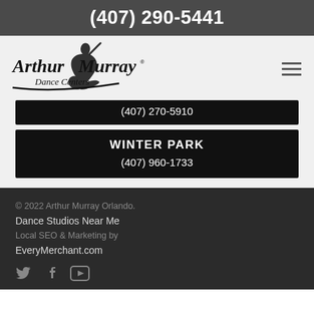(407) 290-5441
[Figure (logo): Arthur Murray Dance Centers logo with dancer silhouette]
(407) 270-5910
WINTER PARK
(407) 960-1733
© 2022 Arthur Murray Orlando. Dance Studios Near Me Local SEO & Marketing by EveryMerchant.com